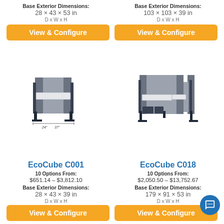Base Exterior Dimensions: 28 × 43 × 53 in D x W x H
Base Exterior Dimensions: 103 × 103 × 39 in D x W x H
View & Configure
View & Configure
[Figure (photo): EcoCube C001 single office cubicle with gray fabric panels and white work surface, shown with dimension arrows]
[Figure (photo): EcoCube C018 L-shaped office cubicle with gray fabric panels and white work surface]
EcoCube C001
EcoCube C018
10 Options From: $651.14 – $3,812.10
10 Options From: $2,050.50 – $13,752.67
Base Exterior Dimensions: 28 × 43 × 39 in D x W x H
Base Exterior Dimensions: 179 × 91 × 53 in D x W x H
View & Configure
View & Configure